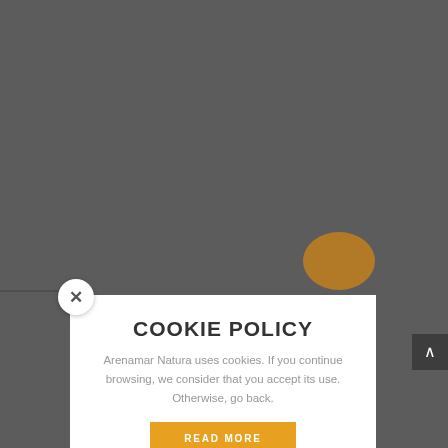[Figure (screenshot): Cookie policy modal dialog overlay on a dark gray website background. The modal has a white section with title 'COOKIE POLICY', descriptive text, a 'READ MORE' orange button, a zigzag border, and an orange/yellow bottom section. A close button (X) is at the top left of the modal and a scroll-up arrow button is at the right edge.]
COOKIE POLICY
Arenamar Natura uses cookies. If you continue browsing, we consider that you accept its use. Otherwise, go back.
READ MORE